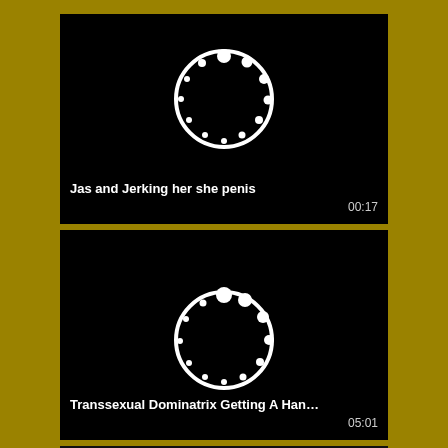[Figure (screenshot): Video thumbnail with black background showing a loading spinner (circle with dots), title 'Jas and Jerking her she penis', duration 00:17]
[Figure (screenshot): Video thumbnail with black background showing a loading spinner (circle with dots), title 'Transsexual Dominatrix Getting A Han...', duration 05:01]